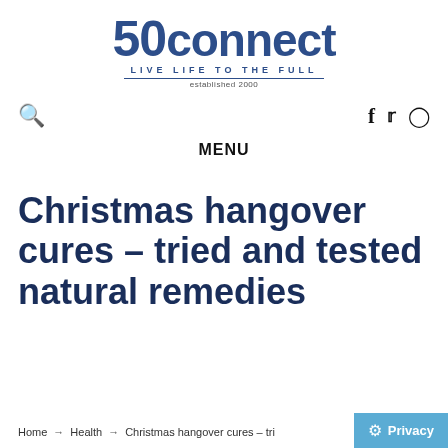50connect LIVE LIFE TO THE FULL established 2000
[Figure (logo): 50connect logo with tagline LIVE LIFE TO THE FULL and established 2000]
Search icon, Facebook, Twitter, Instagram social icons
MENU
Christmas hangover cures – tried and tested natural remedies
Home → Health → Christmas hangover cures – tri...